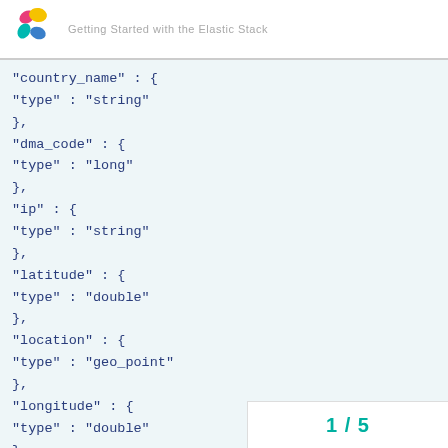"country_name" : {
"type" : "string"
},
"dma_code" : {
"type" : "long"
},
"ip" : {
"type" : "string"
},
"latitude" : {
"type" : "double"
},
"location" : {
"type" : "geo_point"
},
"longitude" : {
"type" : "double"
},
"postal_code" : {
1 / 5